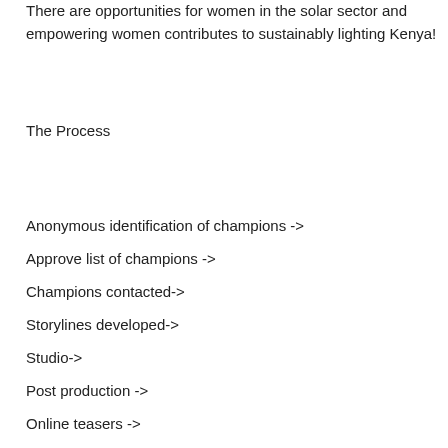There are opportunities for women in the solar sector and empowering women contributes to sustainably lighting Kenya!
The Process
Anonymous identification of champions ->
Approve list of champions ->
Champions contacted->
Storylines developed->
Studio->
Post production ->
Online teasers ->
Launch and online discussions->
Evaluation
2. How does it look like
Images–sanitised and common background instead of in their natural environment
Text: Each had a long interview so text covers pertinent issues about the person
Podcast: personal interaction with the champion. Can be used later on radio.